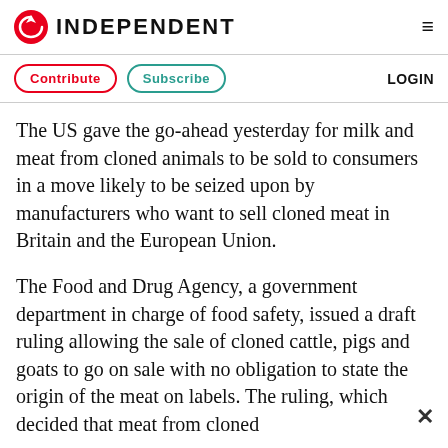INDEPENDENT
Contribute   Subscribe   LOGIN
The US gave the go-ahead yesterday for milk and meat from cloned animals to be sold to consumers in a move likely to be seized upon by manufacturers who want to sell cloned meat in Britain and the European Union.
The Food and Drug Agency, a government department in charge of food safety, issued a draft ruling allowing the sale of cloned cattle, pigs and goats to go on sale with no obligation to state the origin of the meat on labels. The ruling, which decided that meat from cloned